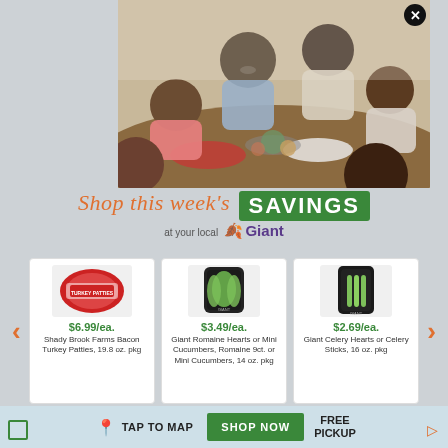[Figure (photo): Family gathered around a dining table sharing a meal, with various dishes and food items on the table]
Shop this week's SAVINGS
at your local Giant
[Figure (photo): Red packaged meat product - Shady Brook Farms Bacon Turkey Patties]
$6.99/ea. Shady Brook Farms Bacon Turkey Patties, 19.8 oz. pkg
[Figure (photo): Dark bag of Giant Romaine Hearts or Mini Cucumbers]
$3.49/ea. Giant Romaine Hearts or Mini Cucumbers, Romaine 9ct. or Mini Cucumbers, 14 oz. pkg
[Figure (photo): Dark package of Giant Celery product]
$2.69/ea. Giant Celery Hearts or Celery Sticks, 16 oz. pkg
TAP TO MAP
SHOP NOW
FREE PICKUP